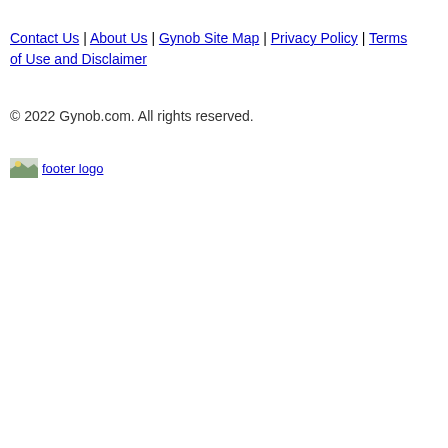Contact Us | About Us | Gynob Site Map | Privacy Policy | Terms of Use and Disclaimer
© 2022 Gynob.com. All rights reserved.
[Figure (logo): footer logo image placeholder with alt text 'footer logo']